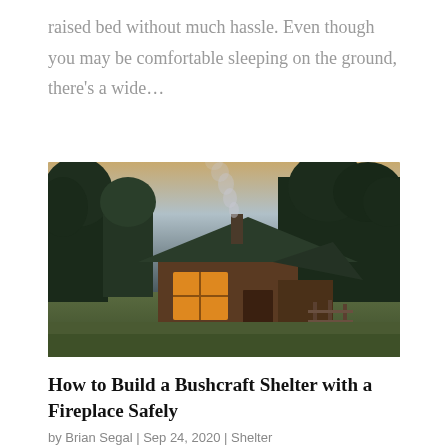raised bed without much hassle. Even though you may be comfortable sleeping on the ground, there's a wide…
[Figure (photo): A rustic wooden cabin or shed with a dark green metal roof, smoke rising from a chimney, warm light glowing from a window, surrounded by tall dark trees at dusk, set in a grassy field.]
How to Build a Bushcraft Shelter with a Fireplace Safely
by Brian Segal | Sep 24, 2020 | Shelter